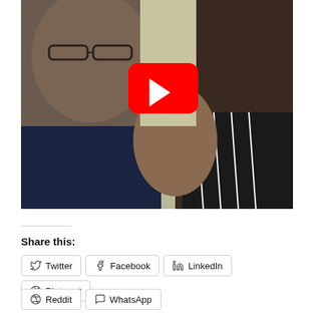[Figure (screenshot): YouTube video thumbnail showing two people, one with glasses in a navy shirt, one in a patterned black and white top. A red YouTube play button overlay is visible in the center.]
Share this:
Twitter
Facebook
LinkedIn
Pinterest
Reddit
WhatsApp